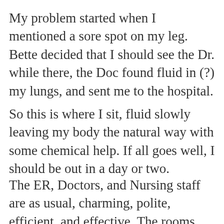My problem started when I mentioned a sore spot on my leg. Bette decided that I should see the Dr. while there, the Doc found fluid in (?) my lungs, and sent me to the hospital.
So this is where I sit, fluid slowly leaving my body the natural way with some chemical help. If all goes well, I should be out in a day or two.
The ER, Doctors, and Nursing staff are as usual, charming, polite, efficient, and effective. The rooms and halls are spick and span, lunch was wonderful, and I expect a pleasant and productive